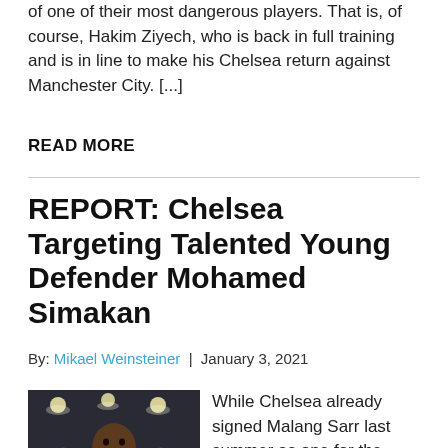of one of their most dangerous players. That is, of course, Hakim Ziyech, who is back in full training and is in line to make his Chelsea return against Manchester City. [...]
READ MORE
REPORT: Chelsea Targeting Talented Young Defender Mohamed Simakan
By: Mikael Weinsteiner | January 3, 2021
[Figure (photo): Photo of Mohamed Simakan in a blue football kit celebrating with arms raised, in a stadium setting]
While Chelsea already signed Malang Sarr last summer as one for the future, they look to be going after another